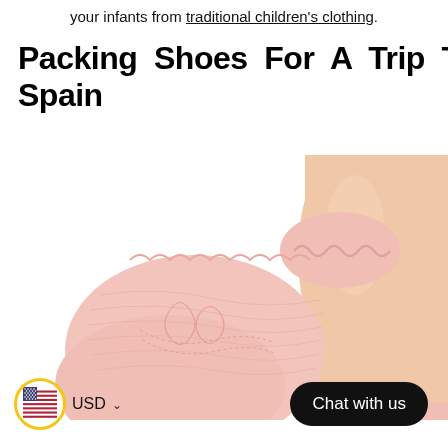your infants from traditional children's clothing.
Packing Shoes For A Trip To Spain
[Figure (photo): Close-up photo of a child's foot wearing a delicate pink lace-trim knit ankle sock, alongside a bare child's heel/ankle, on a white background.]
Chat with us
USD